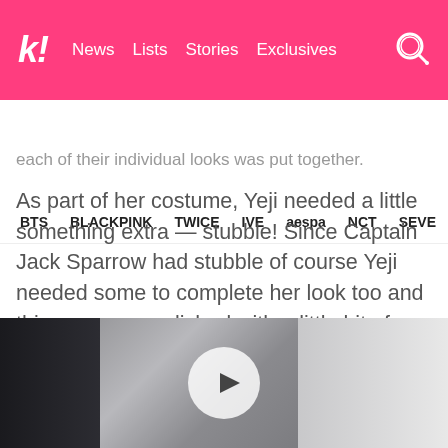k! News Lists Stories Exclusives
BTS BLACKPINK TWICE IVE aespa NCT SEVE
each of their individual looks was put together.
As part of her costume, Yeji needed a little something extra — stubble! Since Captain Jack Sparrow had stubble of course Yeji needed some to complete her look too and this was accomplished with a little bit of mascara work!
[Figure (photo): Video thumbnail showing a person with gray fabric/hat visible, dark figure on the left, light area on the right, with a white circular play button overlay in the center]